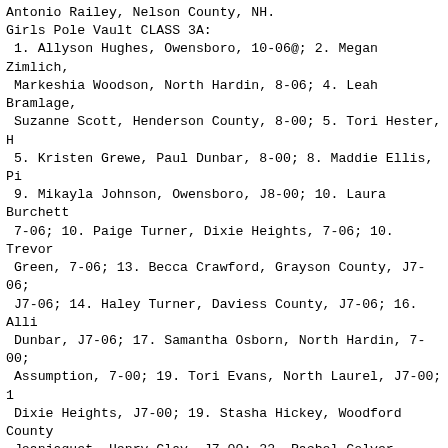Antonio Railey, Nelson County, NH.
Girls Pole Vault CLASS 3A:
 1. Allyson Hughes, Owensboro, 10-06@; 2. Megan Zimlich,
 Markeshia Woodson, North Hardin, 8-06; 4. Leah Bramlage,
 Suzanne Scott, Henderson County, 8-00; 5. Tori Hester, H
 5. Kristen Grewe, Paul Dunbar, 8-00; 8. Maddie Ellis, Pi
 9. Mikayla Johnson, Owensboro, J8-00; 10. Laura Burchett
 7-06; 10. Paige Turner, Dixie Heights, 7-06; 10. Trevor
 Green, 7-06; 13. Becca Crawford, Grayson County, J7-06;
 J7-06; 14. Haley Turner, Daviess County, J7-06; 16. Alli
 Dunbar, J7-06; 17. Samantha Osborn, North Hardin, 7-00;
 Assumption, 7-00; 19. Tori Evans, North Laurel, J7-00; 1
 Dixie Heights, J7-00; 19. Stasha Hickey, Woodford County
 Jeanjaquet, Henry Clay, J7-00; 22. Rachel Colyer, Pulask
 Fallon Frierson, Eastern, NH; --. Kelly DeLor, Assumptio
 McKeough, Ryle, NH; --. Katie Beeler, Grayson County, NH
Boys Pole Vault CLASS 3A:
 1. Ryan Ramsey, St. Xavier, 15-07#; 2. Wyatt Young, Davi
 John Purcell, St. Xavier, 13-00; 4. Doug Long, Campbell
 Daniel Buckles, Grayson County, 12-00; 5. Eric Huster, W
 7. Cain Cooper, Henderson County, 12-00; 8. Reece O'Nan,
 12-00; 9. Chris Sikra, Dixie Heights, 11-06; 10. James B
 11-06; 11. Patrick Brown, Woodford County, 11-06; 12. Ha
 11-00; 13. Donoven Salyers, Scott County, 11-00; 14. Jos
 County, 11-00; 14. Alex Harber, John Hardin, 11-00; 16.
 County, 10-06; 16. Cody Garcia, Tates Creek, 10-06; 16.
 10-06; 16. Chase Barker, Daviess County, 10-06; 16. Ben
 10-06; --. Brandon Mink, Paul Dunbar, NH; --. Bradley Sm
 NH; --. Tanner McConvey, Ryle, NH.